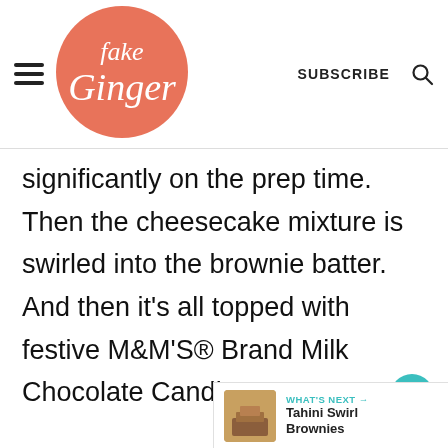Fake Ginger — SUBSCRIBE
significantly on the prep time. Then the cheesecake mixture is swirled into the brownie batter. And then it’s all topped with festive M&M’S® Brand Milk Chocolate Candies.
2
WHAT’S NEXT → Tahini Swirl Brownies